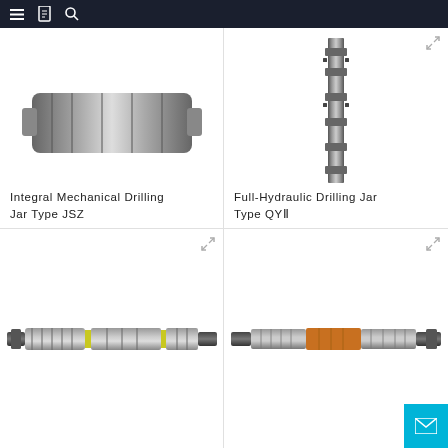Navigation bar with menu, bookmark, and search icons
[Figure (photo): Integral Mechanical Drilling Jar Type JSZ - product image (partial, top cropped)]
Integral Mechanical Drilling Jar Type JSZ
[Figure (photo): Full-Hydraulic Drilling Jar Type QYⅡ - vertical drilling jar tool image]
Full-Hydraulic Drilling Jar Type QYⅡ
[Figure (photo): Horizontal drilling tool product image with yellow accent markings]
[Figure (photo): Horizontal drilling tool product image with orange/gold accent section]